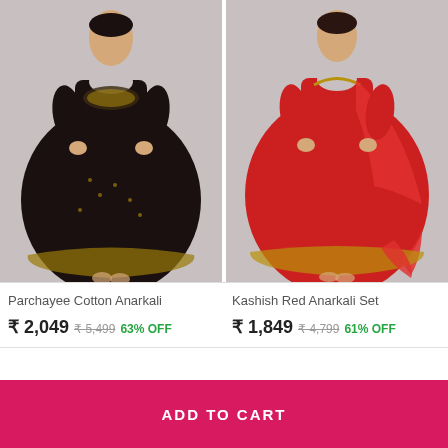[Figure (photo): Woman wearing a black Parchayee Cotton Anarkali dress with gold print pattern, shown on grey background]
[Figure (photo): Woman wearing a red Kashish Anarkali Set with dupatta and gold border, shown on grey background]
Parchayee Cotton Anarkali
₹ 2,049 ₹ 5,499 63% OFF
Kashish Red Anarkali Set
₹ 1,849 ₹ 4,799 61% OFF
ADD TO CART